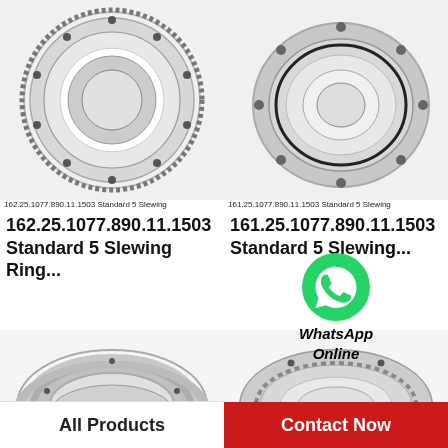[Figure (photo): Slewing ring bearing with external gear teeth, top-left]
162.25.1077.890.11.1503 Standard 5 Slewing
[Figure (photo): Compact slewing ring bearing, top-right]
161.25.1077.890.11.1503 Standard 5 Slewing
162.25.1077.890.11.1503 Standard 5 Slewing Ring...
161.25.1077.890.11.1503 Standard 5 Slewing Ring...
[Figure (logo): WhatsApp green phone icon with WhatsApp Online text]
[Figure (photo): Large open slewing ring bearing, bottom-left]
[Figure (photo): Flat slewing ring bearing with bolt holes, bottom-right]
All Products
Contact Now